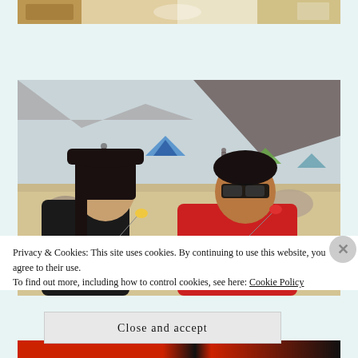[Figure (photo): Partial top photo of a dining scene with a wooden table and plates, cropped at the top of the page]
[Figure (photo): Two young people eating food outdoors at a campsite with tents and rocky mountains in the background. A woman in a black cap and jacket holds a bowl and fork, and a man in a red hoodie with sunglasses also holds a bowl and fork.]
Privacy & Cookies: This site uses cookies. By continuing to use this website, you agree to their use.
To find out more, including how to control cookies, see here: Cookie Policy
Close and accept